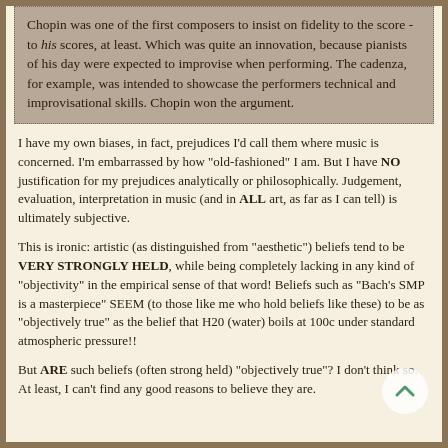Chopin was one of the first composers to insist on fidelity to the score - to his scores, at least. Which was quite an innovation, because pianists of his day were expected to improvise when performing. The cadenza, for example, was intended to showcase the performers technical and improvisational skills. Chopin won the argument.
I have my own biases, in fact, prejudices I'd call them where music is concerned. I'm embarrassed by how "old-fashioned" I am. But I have NO justification for my prejudices analytically or philosophically. Judgement, evaluation, interpretation in music (and in ALL art, as far as I can tell) is ultimately subjective.
This is ironic: artistic (as distinguished from "aesthetic") beliefs tend to be VERY STRONGLY HELD, while being completely lacking in any kind of "objectivity" in the empirical sense of that word! Beliefs such as "Bach's SMP is a masterpiece" SEEM (to those like me who hold beliefs like these) to be as "objectively true" as the belief that H20 (water) boils at 100c under standard atmospheric pressure!!
But ARE such beliefs (often strong held) "objectively true"? I don't think so. At least, I can't find any good reasons to believe they are.